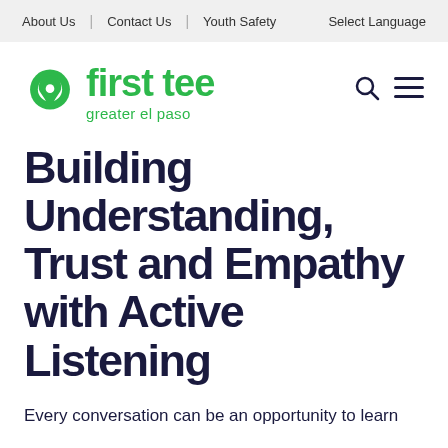About Us | Contact Us | Youth Safety    Select Language
[Figure (logo): First Tee Greater El Paso logo — green location pin icon next to bold green text 'first tee' with 'greater el paso' subtitle]
Building Understanding, Trust and Empathy with Active Listening
Every conversation can be an opportunity to learn